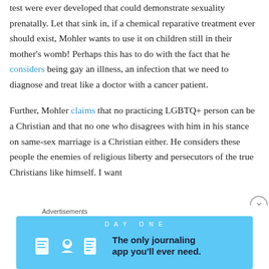test were ever developed that could demonstrate sexuality prenatally. Let that sink in, if a chemical reparative treatment ever should exist, Mohler wants to use it on children still in their mother's womb! Perhaps this has to do with the fact that he considers being gay an illness, an infection that we need to diagnose and treat like a doctor with a cancer patient.

Further, Mohler claims that no practicing LGBTQ+ person can be a Christian and that no one who disagrees with him in his stance on same-sex marriage is a Christian either. He considers these people the enemies of religious liberty and persecutors of the true Christians like himself. I want
[Figure (other): Advertisement banner for DayOne journaling app. Light blue background with 'DAY ONE' text at top, icons of a journal, person, and notepad, with text 'The only journaling app you'll ever need.']